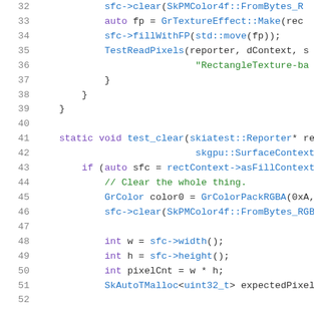[Figure (screenshot): Source code editor showing C++ code lines 32-52 with syntax highlighting. Line numbers in gray on the left, keywords in purple, function calls in blue, string literals and comments in green.]